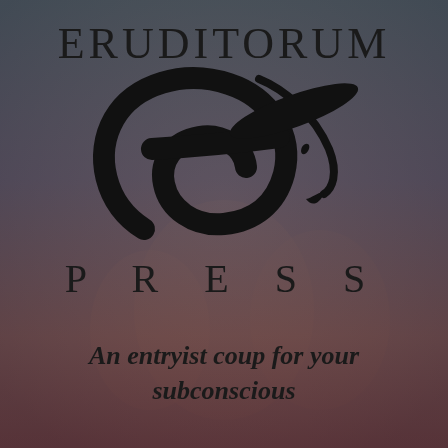[Figure (logo): Eruditorum Press logo: stylized EP monogram with a large curved 'e' shape and a pen/quill slash, with background showing a faded sepia-toned classical painting of figures]
ERUDITORUM
PRESS
An entryist coup for your subconscious